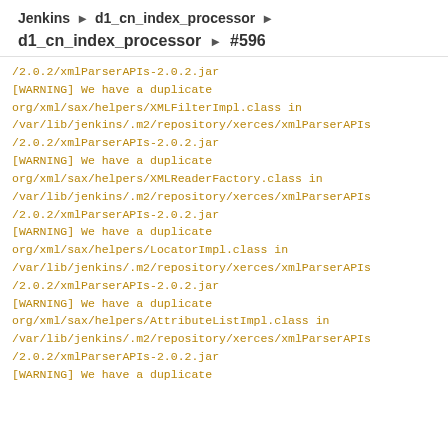Jenkins › d1_cn_index_processor ›
d1_cn_index_processor › #596
/2.0.2/xmlParserAPIs-2.0.2.jar
[WARNING] We have a duplicate
org/xml/sax/helpers/XMLFilterImpl.class in
/var/lib/jenkins/.m2/repository/xerces/xmlParserAPIs
/2.0.2/xmlParserAPIs-2.0.2.jar
[WARNING] We have a duplicate
org/xml/sax/helpers/XMLReaderFactory.class in
/var/lib/jenkins/.m2/repository/xerces/xmlParserAPIs
/2.0.2/xmlParserAPIs-2.0.2.jar
[WARNING] We have a duplicate
org/xml/sax/helpers/LocatorImpl.class in
/var/lib/jenkins/.m2/repository/xerces/xmlParserAPIs
/2.0.2/xmlParserAPIs-2.0.2.jar
[WARNING] We have a duplicate
org/xml/sax/helpers/AttributeListImpl.class in
/var/lib/jenkins/.m2/repository/xerces/xmlParserAPIs
/2.0.2/xmlParserAPIs-2.0.2.jar
[WARNING] We have a duplicate